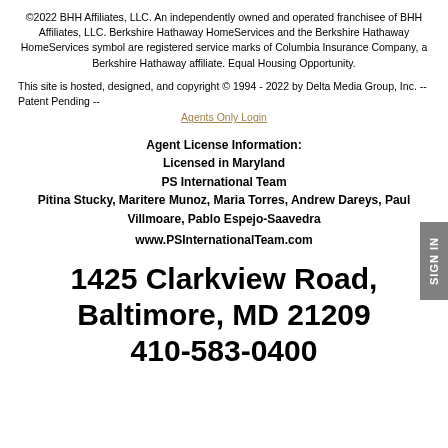©2022 BHH Affiliates, LLC. An independently owned and operated franchisee of BHH Affiliates, LLC. Berkshire Hathaway HomeServices and the Berkshire Hathaway HomeServices symbol are registered service marks of Columbia Insurance Company, a Berkshire Hathaway affiliate. Equal Housing Opportunity.
This site is hosted, designed, and copyright © 1994 - 2022 by Delta Media Group, Inc. -- Patent Pending --
Agents Only Login
Agent License Information:
Licensed in Maryland
PS International Team
Pitina Stucky, Maritere Munoz, Maria Torres, Andrew Dareys, Paul Villmoare, Pablo Espejo-Saavedra
www.PSInternationalTeam.com
1425 Clarkview Road, Baltimore, MD 21209
410-583-0400